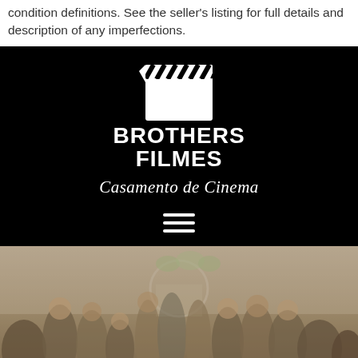condition definitions. See the seller's listing for full details and description of any imperfections.
[Figure (logo): Brothers Filmes logo on black background. Features a film clapperboard icon above bold white text reading BROTHERS FILMES with italic script tagline Casamento de Cinema below, followed by a hamburger menu icon.]
[Figure (photo): Outdoor wedding or event photo showing a crowd of guests gathered at what appears to be a ceremony or reception, with a floral arch visible in the background. Muted warm tones.]